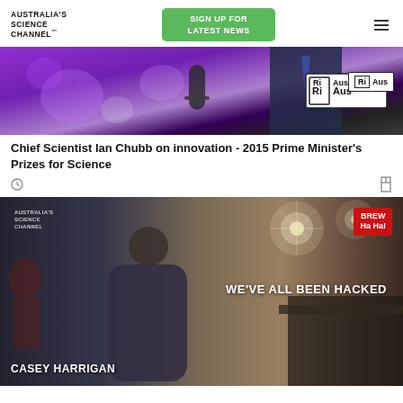AUSTRALIA'S SCIENCE CHANNEL™
SIGN UP FOR LATEST NEWS
[Figure (photo): Purple-lit stage with microphone and Ri Aus branded badge, showing a speaker in a suit with a tie]
Chief Scientist Ian Chubb on innovation - 2015 Prime Minister's Prizes for Science
[Figure (photo): Casey Harrigan standing in a cafe/office setting. Brew Ha Ha! branded content overlay. Text reads WE'VE ALL BEEN HACKED. Australia's Science Channel logo in top left.]